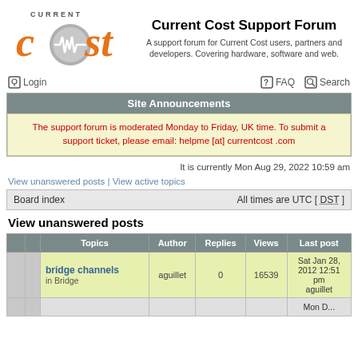[Figure (logo): Current Cost logo with orange 'cost' text and a circular grey emblem with a heartbeat line]
Current Cost Support Forum
A support forum for Current Cost users, partners and developers. Covering hardware, software and web.
Login
FAQ  Search
Site Announcements
The support forum is moderated Monday to Friday, UK time. To submit a support ticket, please email: helpme [at] currentcost .com
It is currently Mon Aug 29, 2022 10:59 am
View unanswered posts | View active topics
Board index    All times are UTC [ DST ]
View unanswered posts
|  |  | Topics | Author | Replies | Views | Last post |
| --- | --- | --- | --- | --- | --- | --- |
|  |  | bridge channels
in Bridge | aguillet | 0 | 16539 | Sat Jan 28, 2012 12:51 pm
guillet |